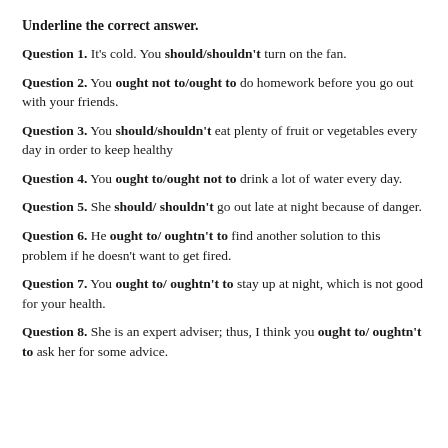Underline the correct answer.
Question 1. It's cold. You should/shouldn't turn on the fan.
Question 2. You ought not to/ought to do homework before you go out with your friends.
Question 3. You should/shouldn't eat plenty of fruit or vegetables every day in order to keep healthy
Question 4. You ought to/ought not to drink a lot of water every day.
Question 5. She should/ shouldn't go out late at night because of danger.
Question 6. He ought to/ oughtn't to find another solution to this problem if he doesn't want to get fired.
Question 7. You ought to/ oughtn't to stay up at night, which is not good for your health.
Question 8. She is an expert adviser; thus, I think you ought to/ oughtn't to ask her for some advice.